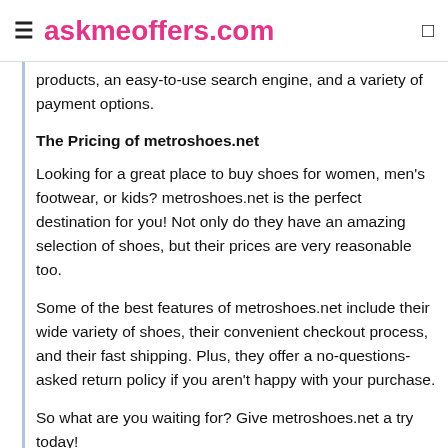≡ askmeoffers.com
products, an easy-to-use search engine, and a variety of payment options.
The Pricing of metroshoes.net
Looking for a great place to buy shoes for women, men's footwear, or kids? metroshoes.net is the perfect destination for you! Not only do they have an amazing selection of shoes, but their prices are very reasonable too.
Some of the best features of metroshoes.net include their wide variety of shoes, their convenient checkout process, and their fast shipping. Plus, they offer a no-questions-asked return policy if you aren't happy with your purchase.
So what are you waiting for? Give metroshoes.net a try today!
Customer Service at Metroshoes.net